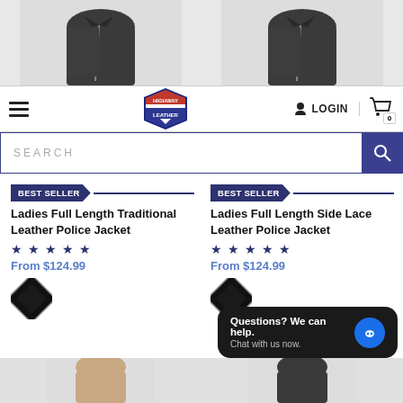[Figure (screenshot): E-commerce website screenshot showing Highway Leather store with navigation bar, search bar, and product listings for ladies leather police jackets]
Highway Leather - Navigation bar with hamburger menu, logo, LOGIN button, and cart
SEARCH
BEST SELLER
Ladies Full Length Traditional Leather Police Jacket
★ ★ ★ ★ ★
From $124.99
BEST SELLER
Ladies Full Length Side Lace Leather Police Jacket
★ ★ ★ ★ ★
From $124.99
Questions? We can help.
Chat with us now.